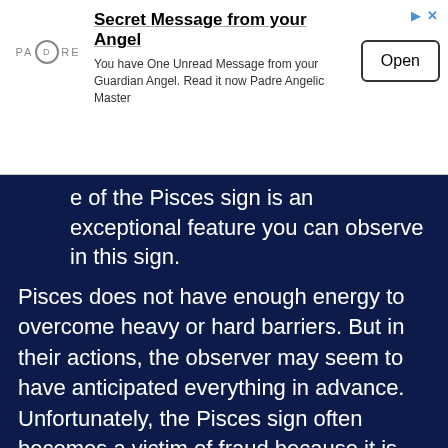[Figure (other): Advertisement banner: Secret Message from your Angel. Logo: PADRE. Text: You have One Unread Message from your Guardian Angel. Read it now Padre Angelic Master. Button: Open. Ad icons top right.]
of the Pisces sign is an exceptional feature you can observe in this sign.
Pisces does not have enough energy to overcome heavy or hard barriers. But in their actions, the observer may seem to have anticipated everything in advance. Unfortunately, the Pisces sign often becomes a victim of fraud because it is extremely naive and trustworthy. Pisces sign you can affect the lightest of all zodiac signs and are heavily dependent on family and friends. They need someone with them to show them the way to love, whom to trust, even